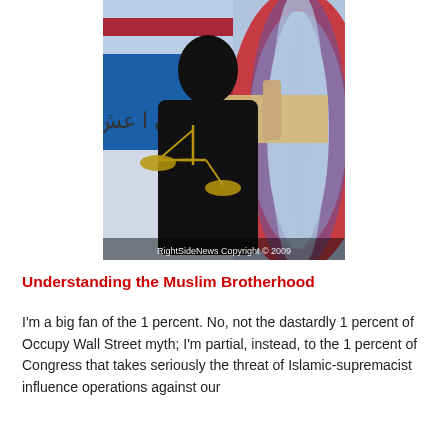[Figure (photo): A figure in black niqab and abaya holding scales of justice, posed in front of an American flag background with Arabic text visible. Watermark reads: RightSideNews Copyright © 2009]
Understanding the Muslim Brotherhood
I'm a big fan of the 1 percent. No, not the dastardly 1 percent of Occupy Wall Street myth; I'm partial, instead, to the 1 percent of Congress that takes seriously the threat of Islamic-supremacist influence operations against our